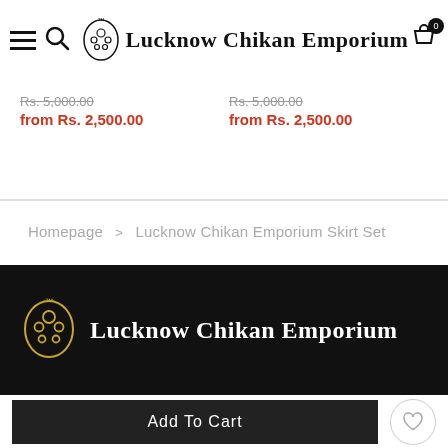Lucknow Chikan Emporium — navigation header with hamburger menu, search icon, logo, and cart icon (0 items)
Rs. 5,000.00
from Rs. 2,500.00
Rs. 5,000.00
from Rs. 2,500.00
Homepage > Lucknow Chikan Emporium Skirt Set
[Figure (logo): Lucknow Chikan Emporium logo in gold and white on black background]
Add To Cart